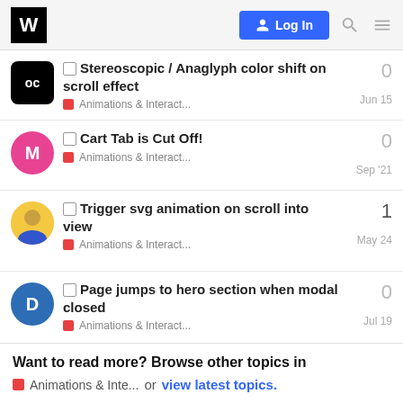W | Log In
Stereoscopic / Anaglyph color shift on scroll effect | Animations & Interact... | Jun 15 | 0 replies
Cart Tab is Cut Off! | Animations & Interact... | Sep '21 | 0 replies
Trigger svg animation on scroll into view | Animations & Interact... | May 24 | 1 reply
Page jumps to hero section when modal closed | Animations & Interact... | Jul 19 | 0 replies
Want to read more? Browse other topics in Animations & Inte... or view latest topics.